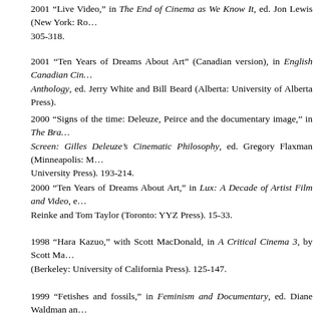2001 "Live Video," in The End of Cinema as We Know It, ed. Jon Lewis (New York: Ro... 305-318.
2001 "Ten Years of Dreams About Art" (Canadian version), in English Canadian Cin... Anthology, ed. Jerry White and Bill Beard (Alberta: University of Alberta Press).
2000 "Signs of the time: Deleuze, Peirce and the documentary image," in The Bra... Screen: Gilles Deleuze's Cinematic Philosophy, ed. Gregory Flaxman (Minneapolis: M... University Press). 193-214.
2000 "Ten Years of Dreams About Art," in Lux: A Decade of Artist Film and Video, e... Reinke and Tom Taylor (Toronto: YYZ Press). 15-33.
1998 "Hara Kazuo," with Scott MacDonald, in A Critical Cinema 3, by Scott Ma... (Berkeley: University of California Press). 125-147.
1999 "Fetishes and fossils," in Feminism and Documentary, ed. Diane Waldman an... Walker (Minneapolis: Minnesota University Press). 224-243.
Refereed articles
2018 "Lively Up Your Ontology: Bringing Deleuze into Sadrā's Modulated Universe," Qu... 27:2 (December): 321-354.
2017 "Poor Images, Ad Hoc Archives, Artists' Rights: The Scrappy Beauties of Handma...